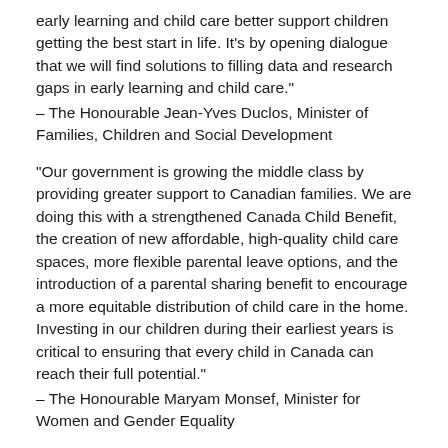early learning and child care better support children getting the best start in life. It’s by opening dialogue that we will find solutions to filling data and research gaps in early learning and child care.”
– The Honourable Jean-Yves Duclos, Minister of Families, Children and Social Development
“Our government is growing the middle class by providing greater support to Canadian families. We are doing this with a strengthened Canada Child Benefit, the creation of new affordable, high-quality child care spaces, more flexible parental leave options, and the introduction of a parental sharing benefit to encourage a more equitable distribution of child care in the home. Investing in our children during their earliest years is critical to ensuring that every child in Canada can reach their full potential.”
– The Honourable Maryam Monsef, Minister for Women and Gender Equality